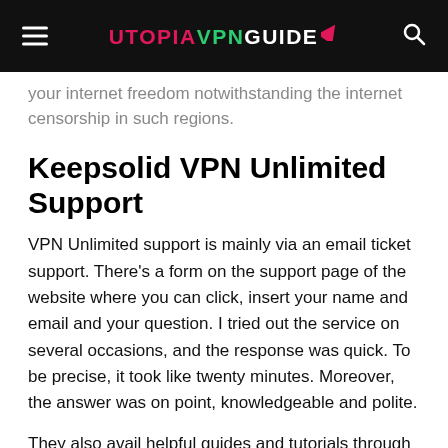UTOPIA VPN GUIDE
your internet freedom notwithstanding the internet censorship in such regions.
Keepsolid VPN Unlimited Support
VPN Unlimited support is mainly via an email ticket support. There’s a form on the support page of the website where you can click, insert your name and email and your question. I tried out the service on several occasions, and the response was quick. To be precise, it took like twenty minutes. Moreover, the answer was on point, knowledgeable and polite.
They also avail helpful guides and tutorials through a